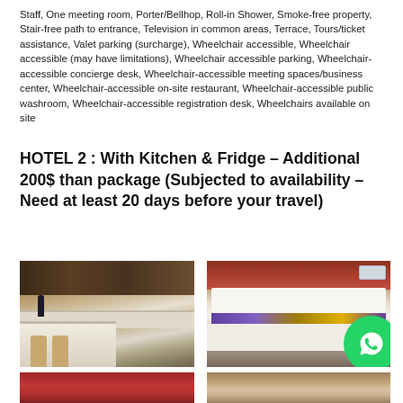Staff, One meeting room, Porter/Bellhop, Roll-in Shower, Smoke-free property, Stair-free path to entrance, Television in common areas, Terrace, Tours/ticket assistance, Valet parking (surcharge), Wheelchair accessible, Wheelchair accessible (may have limitations), Wheelchair accessible parking, Wheelchair-accessible concierge desk, Wheelchair-accessible meeting spaces/business center, Wheelchair-accessible on-site restaurant, Wheelchair-accessible public washroom, Wheelchair-accessible registration desk, Wheelchairs available on site
HOTEL 2 : With Kitchen & Fridge – Additional 200$ than package (Subjected to availability – Need at least 20 days before your travel)
[Figure (photo): Hotel room kitchen with dark wood cabinets, countertop, sink, stovetop, microwave, bar stools, and a bottle on the counter]
[Figure (photo): Hotel bedroom with two beds with white bedding and colorful runners, orange/red headboard wall, air conditioning unit, and window with curtains]
[Figure (photo): Hotel room with red/orange walls, partial view]
[Figure (photo): Hotel room interior with warm tones, wooden elements, window with curtains and air conditioning]